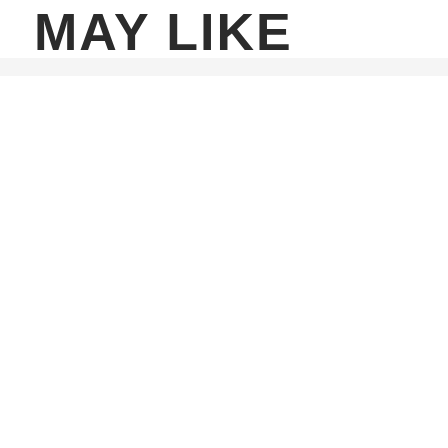MAY LIKE
[Figure (other): Light gray horizontal divider bar below the title text]